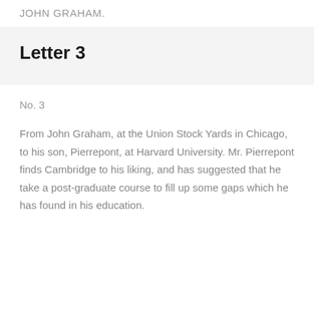JOHN GRAHAM.
Letter 3
No. 3
From John Graham, at the Union Stock Yards in Chicago, to his son, Pierrepont, at Harvard University. Mr. Pierrepont finds Cambridge to his liking, and has suggested that he take a post-graduate course to fill up some gaps which he has found in his education.